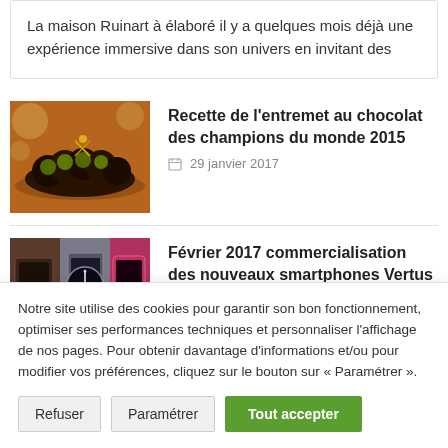La maison Ruinart à élaboré il y a quelques mois déjà une expérience immersive dans son univers en invitant des
Recette de l'entremet au chocolat des champions du monde 2015
29 janvier 2017
Février 2017 commercialisation des nouveaux smartphones Vertus
Notre site utilise des cookies pour garantir son bon fonctionnement, optimiser ses performances techniques et personnaliser l'affichage de nos pages. Pour obtenir davantage d'informations et/ou pour modifier vos préférences, cliquez sur le bouton sur « Paramétrer ».
Refuser
Paramétrer
Tout accepter